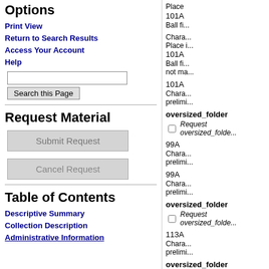Options
Print View
Return to Search Results
Access Your Account
Help
Search this Page
Request Material
Submit Request
Cancel Request
Table of Contents
Descriptive Summary
Collection Description
Administrative Information
Place
101A    Ball fi...
Chara...
Place i...
101A    Ball fi...
not ma...
101A    Chara...
preliml...
oversized_folder
Request oversized_folde...
99A    Chara...
preliml...
99A    Chara...
preliml...
oversized_folder
Request oversized_folde...
113A    Chara...
preliml...
oversized_folder
Request oversized_folde...